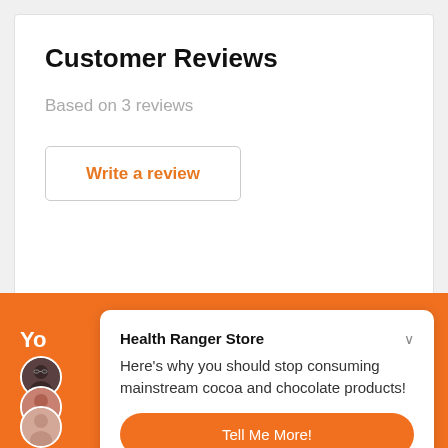Customer Reviews
Based on 3 reviews
Write a review
Health Ranger Store
Here's why you should stop consuming mainstream cocoa and chocolate products!
Tell Me More!
Maybe later.